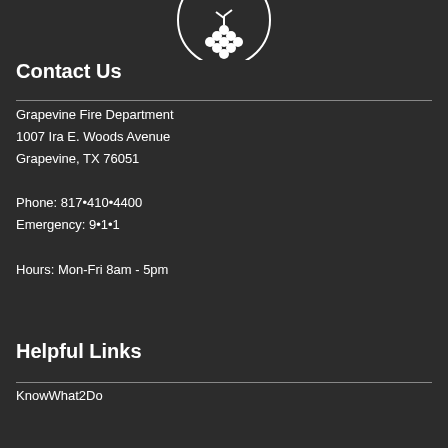[Figure (logo): Grapevine city seal/logo with grape cluster emblem, white on dark background, partially visible at top]
Contact Us
Grapevine Fire Department
1007 Ira E. Woods Avenue
Grapevine, TX 76051

Phone: 817•410•4400
Emergency: 9•1•1

Hours: Mon-Fri 8am - 5pm
Helpful Links
KnowWhat2Do